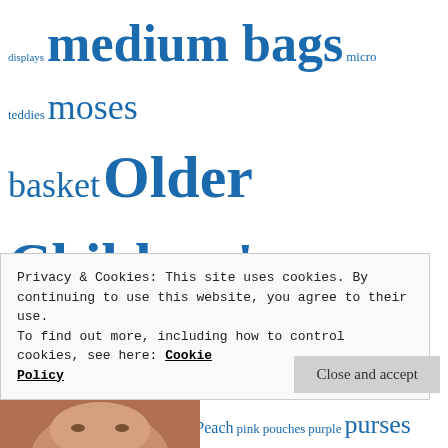displays medium bags micro teddies moses basket Older Children's Bags online only Online Sales PayPal Peach pink pouches purple purses satchel bag Shoulder Bags Sleeping Bags for Teddies small bags small teddy soft teddies stocking fillers Summer Fayres tassel bag teddies in gift bags Teddy Bags Teddy Baskets Teddy Bear Brooches teddy gifts Teddy Papooses teddy print teddy sleeping bag Teddy swings tiny bags tiny baskets tiny teddy toddler toy
Privacy & Cookies: This site uses cookies. By continuing to use this website, you agree to their use.
To find out more, including how to control cookies, see here: Cookie Policy
Close and accept
[Figure (photo): Partial photo of a person's face visible at the bottom of the page]